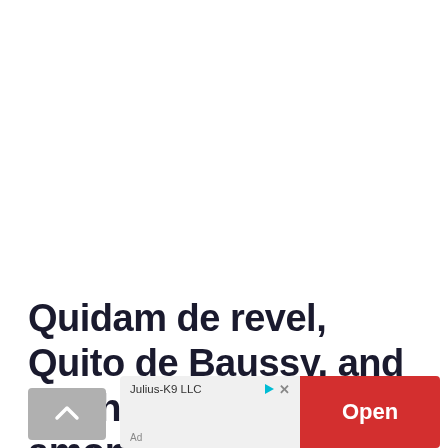Quidam de revel, Quito de Baussy, and Rochet Rouge are among the well-known horses that have
[Figure (other): Scroll-up navigation button (grey rounded rectangle with upward chevron arrow)]
[Figure (other): Advertisement banner: Julius-K9 LLC with an 'Open' button in red, ad controls (play triangle in teal and X close button)]
Ad